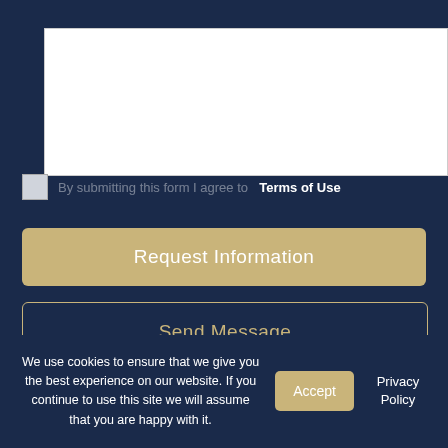[Figure (screenshot): Text area input box (white, empty, resizable)]
By submitting this form I agree to Terms of Use
Request Information
Send Message
We use cookies to ensure that we give you the best experience on our website. If you continue to use this site we will assume that you are happy with it.
Accept
Privacy Policy